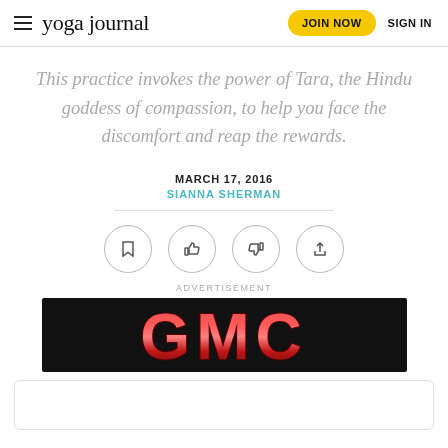yoga journal | JOIN NOW | SIGN IN
This practice invokes the power of Tara, the Hindu goddess of compassion, to help you face the discomfort and reap the rewards.
MARCH 17, 2016
SIANNA SHERMAN
[Figure (other): Row of four circular icon buttons: bookmark, thumbs up, thumbs down, share]
ADVERTISEMENT
[Figure (logo): GMC logo in red metallic lettering on black background]